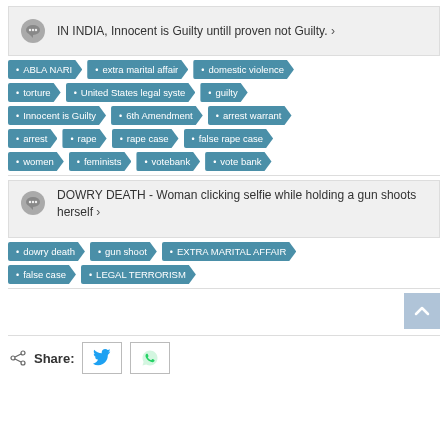IN INDIA, Innocent is Guilty untill proven not Guilty. >
ABLA NARI
extra marital affair
domestic violence
torture
United States legal syste
guilty
Innocent is Guilty
6th Amendment
arrest warrant
arrest
rape
rape case
false rape case
women
feminists
votebank
vote bank
DOWRY DEATH - Woman clicking selfie while holding a gun shoots herself >
dowry death
gun shoot
EXTRA MARITAL AFFAIR
false case
LEGAL TERRORISM
Share: